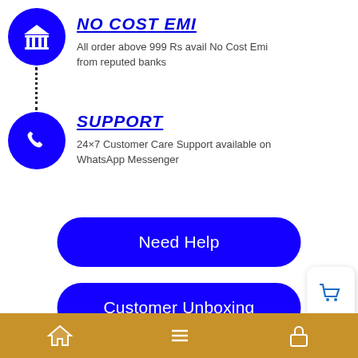[Figure (illustration): Blue circular icon with white bank/institution building symbol]
NO COST EMI
All order above 999 Rs avail No Cost Emi from reputed banks
[Figure (illustration): Blue circular icon with white phone/support symbol]
SUPPORT
24×7 Customer Care Support available on WhatsApp Messenger
Need Help
Customer Unboxing
Product Packing
Navigation bar with home, menu, and lock icons